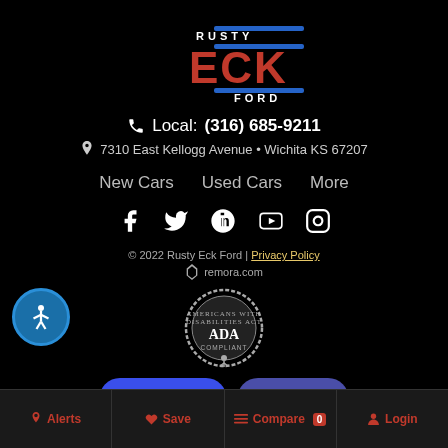[Figure (logo): Rusty Eck Ford dealership logo with red ECK letters, blue accent lines, and white RUSTY and FORD text on black background]
Local: (316) 685-9211
7310 East Kellogg Avenue • Wichita KS 67207
New Cars   Used Cars   More
[Figure (infographic): Social media icons: Facebook, Twitter, Google+, YouTube, Instagram]
© 2022 Rusty Eck Ford | Privacy Policy
remora.com
[Figure (logo): ADA Compliant badge - Americans with Disabilities Act]
Live Chat
Text Us
Alerts   Save   Compare 0   Login